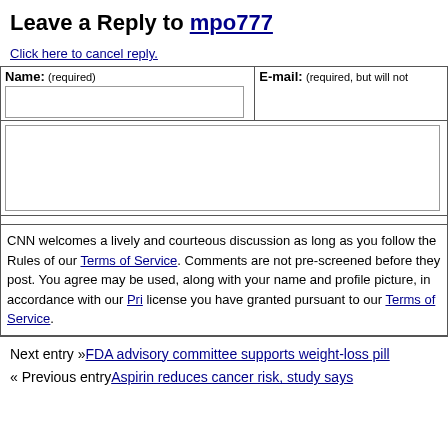Leave a Reply to mpo777
Click here to cancel reply.
| Name: (required) | E-mail: (required, but will not be published) |
| --- | --- |
CNN welcomes a lively and courteous discussion as long as you follow the Rules of Conduct set forth in our Terms of Service. Comments are not pre-screened before they post. You agree that anything you post may be used, along with your name and profile picture, in accordance with our Privacy Policy and the license you have granted pursuant to our Terms of Service.
Next entry »FDA advisory committee supports weight-loss pill
« Previous entryAspirin reduces cancer risk, study says